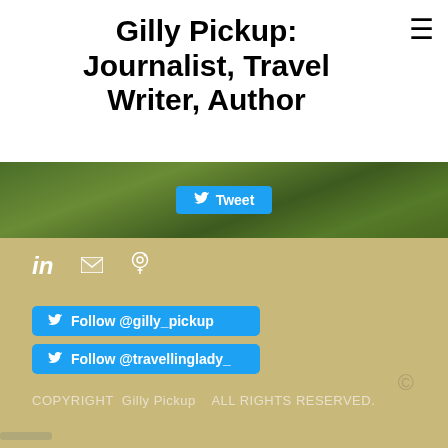Gilly Pickup: Journalist, Travel Writer, Author
[Figure (photo): Green grassy outdoor background with a Tweet button overlay]
[Figure (infographic): Social media icons: LinkedIn, email, Pinterest]
Follow @gilly_pickup
Follow @travellinglady_
©
COPYRIGHT  Gilly Pickup   ALL RIGHTS RESERVED.